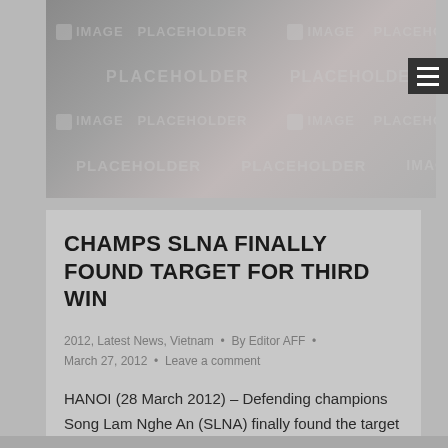[Figure (photo): Image placeholder banner — blurred grey/brown gradient with repeated 'IMAGE PLACEHOLDER' watermark text]
CHAMPS SLNA FINALLY FOUND TARGET FOR THIRD WIN
2012, Latest News, Vietnam • By Editor AFF • March 27, 2012 • Leave a comment
HANOI (28 March 2012) – Defending champions Song Lam Nghe An (SLNA) finally found the target for their third win on the 1th match day of the V-League Eximbank when they beat Ninh Bing FC 2-0 on the road this week. After eleven matches, SLNA have picked up 17 points from 11 games to be…